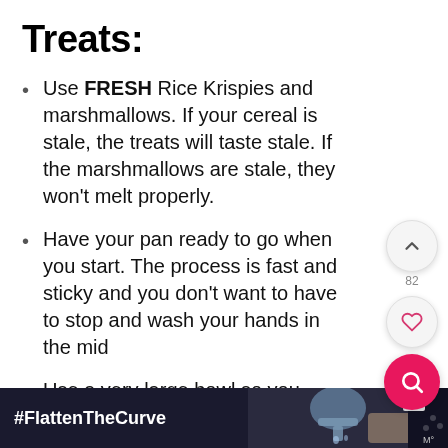Treats:
Use FRESH Rice Krispies and marshmallows. If your cereal is stale, the treats will taste stale. If the marshmallows are stale, they won't melt properly.
Have your pan ready to go when you start. The process is fast and sticky and you don't want to have to stop and wash your hands in the mid
Use a very large bowl so you don't make a mess.
If you don't want to use box brownie mix, make my brownie mix from scratch instead!
[Figure (screenshot): Dark footer advertisement banner showing '#FlattenTheCurve' text with hand-washing imagery]